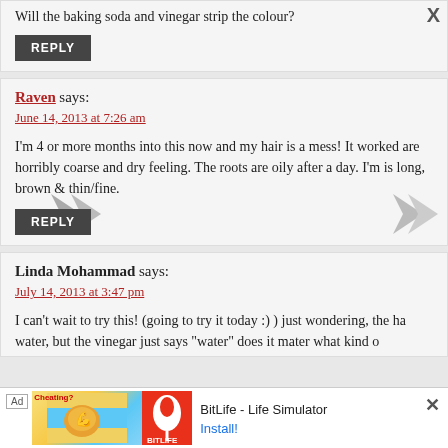Will the baking soda and vinegar strip the colour?
REPLY
Raven says:
June 14, 2013 at 7:26 am
I'm 4 or more months into this now and my hair is a mess! It worked are horribly coarse and dry feeling. The roots are oily after a day. I'm is long, brown & thin/fine.
REPLY
Linda Mohammad says:
July 14, 2013 at 3:47 pm
I can't wait to try this! (going to try it today :) ) just wondering, the ha water, but the vinegar just says "water" does it mater what kind o
[Figure (infographic): BitLife - Life Simulator advertisement banner with ad label, colorful game image, red BitLife logo, app title and Install button]